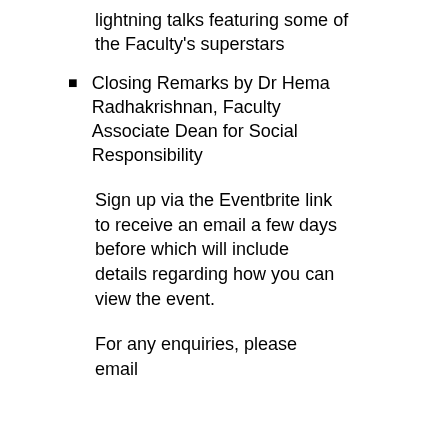lightning talks featuring some of the Faculty's superstars
Closing Remarks by Dr Hema Radhakrishnan, Faculty Associate Dean for Social Responsibility
Sign up via the Eventbrite link to receive an email a few days before which will include details regarding how you can view the event.
For any enquiries, please email